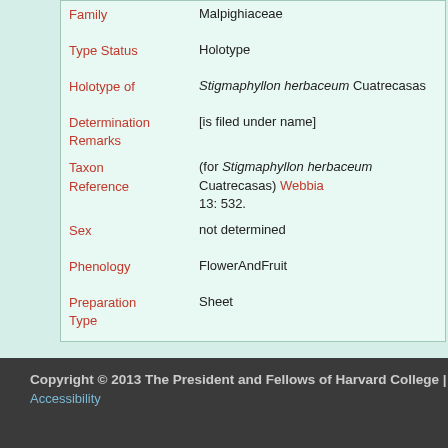| Family | Malpighiaceae |
| Type Status | Holotype |
| Holotype of | Stigmaphyllon herbaceum Cuatrecasas |
| Determination Remarks | [is filed under name] |
| Taxon Reference | (for Stigmaphyllon herbaceum Cuatrecasas) Webbia 13: 532. |
| Sex | not determined |
| Phenology | FlowerAndFruit |
| Preparation Type | Sheet |
| Preparation Method | Pressed |
| Remarks | Type annotated by Cuatrecasas in 1957 and by C. Anders |
Copyright © 2013 The President and Fellows of Harvard College | Accessibility